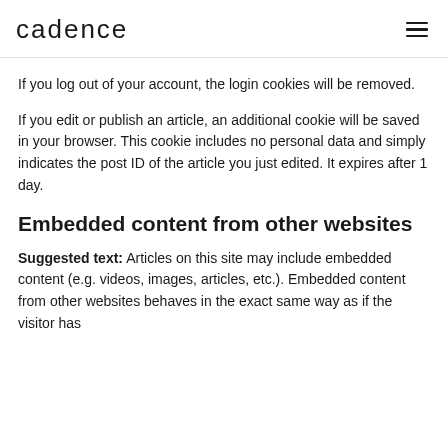cadence
If you log out of your account, the login cookies will be removed.
If you edit or publish an article, an additional cookie will be saved in your browser. This cookie includes no personal data and simply indicates the post ID of the article you just edited. It expires after 1 day.
Embedded content from other websites
Suggested text: Articles on this site may include embedded content (e.g. videos, images, articles, etc.). Embedded content from other websites behaves in the exact same way as if the visitor has